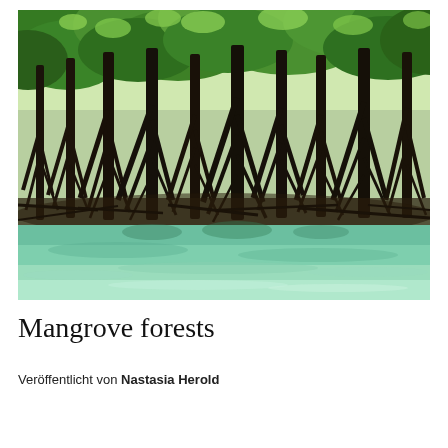[Figure (photo): Photograph of a mangrove forest with dark, tangled prop roots rising from clear, turquoise-green water, with lush green canopy foliage above against a bright sky.]
Mangrove forests
Veröffentlicht von Nastasia Herold